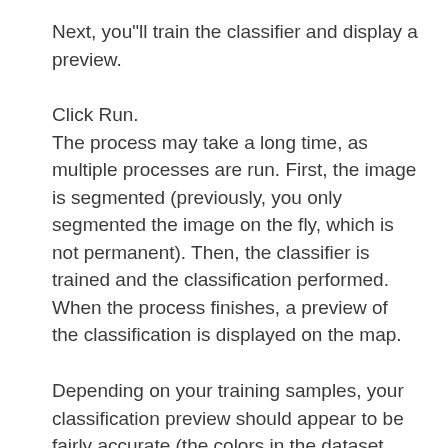Next, you"ll train the classifier and display a preview.
Click Run.
The process may take a long time, as multiple processes are run. First, the image is segmented (previously, you only segmented the image on the fly, which is not permanent). Then, the classifier is trained and the classification performed. When the process finishes, a preview of the classification is displayed on the map.
Depending on your training samples, your classification preview should appear to be fairly accurate (the colors in the dataset correspond to the colors you chose for each training sample class). However, you may notice that some features were classified incorrectly. For instance, in the example